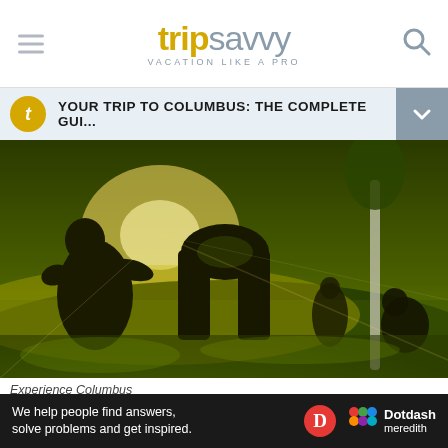tripsavvy VACATION LIKE A PRO
YOUR TRIP TO COLUMBUS: THE COMPLETE GUI...
[Figure (photo): Topiary sculptures in golden evening light at a park in Columbus, Ohio. Dark silhouetted hedge figures against bright yellow-green grass with trees in background.]
Experience Columbus
VIEW MAP
[Figure (infographic): Dotdash Meredith advertisement banner: 'We help people find answers, solve problems and get inspired.']